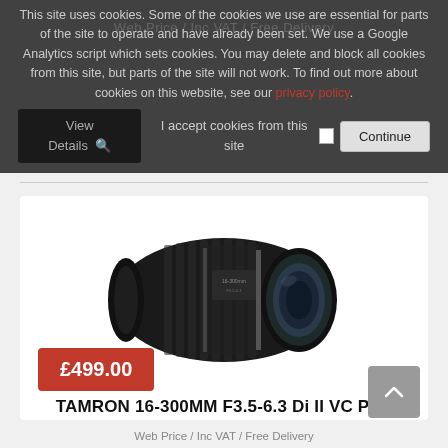This site uses cookies. Some of the cookies we use are essential for parts of the site to operate and have already been set. We use a Google Analytics script which sets cookies. You may delete and block all cookies from this site, but parts of the site will not work. To find out more about cookies on this website, see our privacy policy.
I accept cookies from this site   Continue
[Figure (photo): A Tamron 16-300mm camera lens, black, shown in profile on white background]
£499.00
TAMRON 16-300MM F3.5-6.3 Di II VC PZD MACRO - CANON
Web Price / Inc VAT / Free Delivery